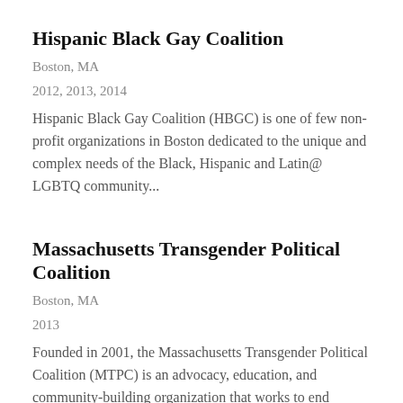Hispanic Black Gay Coalition
Boston, MA
2012, 2013, 2014
Hispanic Black Gay Coalition (HBGC) is one of few non-profit organizations in Boston dedicated to the unique and complex needs of the Black, Hispanic and Latin@ LGBTQ community...
Massachusetts Transgender Political Coalition
Boston, MA
2013
Founded in 2001, the Massachusetts Transgender Political Coalition (MTPC) is an advocacy, education, and community-building organization that works to end discrimination on the basis of gender identity and...